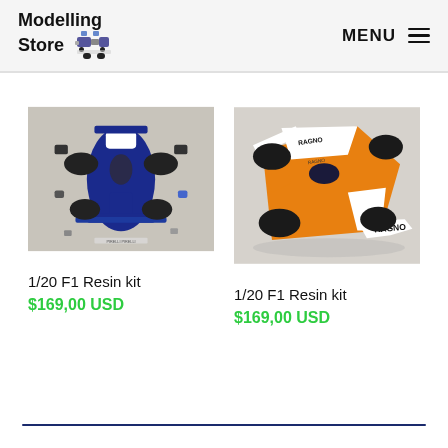Modelling Store  MENU
[Figure (photo): Top-down view of a disassembled blue and white F1 model resin kit with parts laid out]
[Figure (photo): Assembled orange and white F1 model car with Ragno livery, top-down angled view]
1/20 F1 Resin kit
$169,00 USD
1/20 F1 Resin kit
$169,00 USD